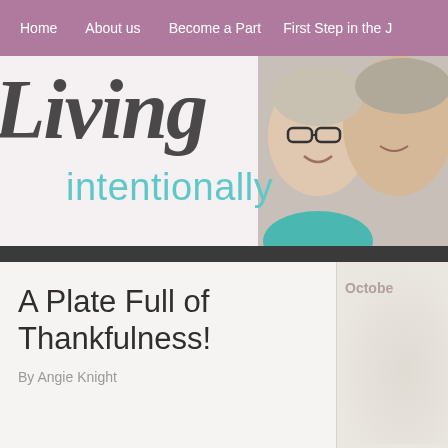Home  About us  Become a Part  First Step in the J
[Figure (screenshot): Website banner with cursive 'Living' in dark gray and 'intentionally' in teal text, with a photo of a smiling older couple on the right side. Dark strip below.]
A Plate Full of Thankfulness!
By Angie Knight
[Figure (photo): Partial view of a photo at bottom of page, dark tones]
Follow ...